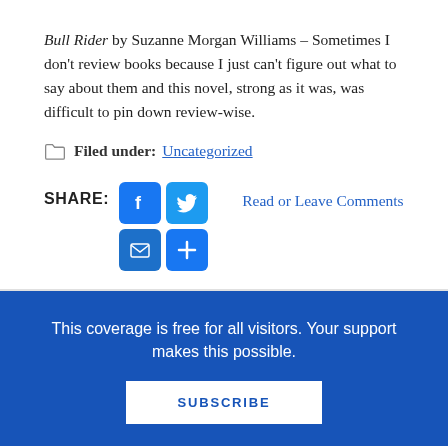Bull Rider by Suzanne Morgan Williams – Sometimes I don't review books because I just can't figure out what to say about them and this novel, strong as it was, was difficult to pin down review-wise.
Filed under: Uncategorized
[Figure (infographic): Share buttons row: Facebook, Twitter, Email, More (+), followed by 'Read or Leave Comments' link]
This coverage is free for all visitors. Your support makes this possible.
SUBSCRIBE